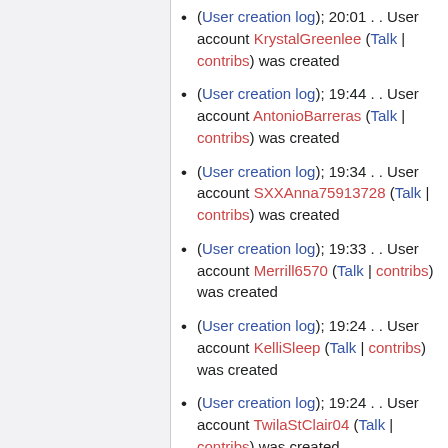(User creation log); 20:01 . . User account KrystalGreenlee (Talk | contribs) was created
(User creation log); 19:44 . . User account AntonioBarreras (Talk | contribs) was created
(User creation log); 19:34 . . User account SXXAnna75913728 (Talk | contribs) was created
(User creation log); 19:33 . . User account Merrill6570 (Talk | contribs) was created
(User creation log); 19:24 . . User account KelliSleep (Talk | contribs) was created
(User creation log); 19:24 . . User account TwilaStClair04 (Talk | contribs) was created
(User creation log); 19:23 . . User account CathleenJeffery (Talk | contribs) was created
(User creation log); 19:22 . . User account AracelyOrlando7 (Talk |